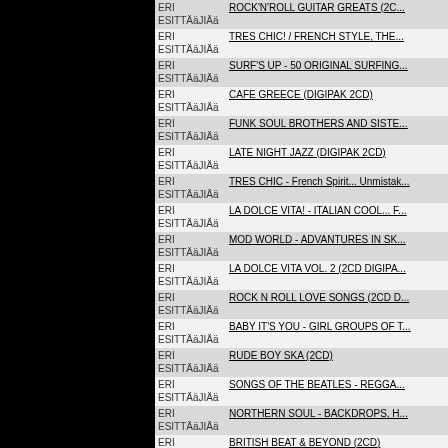[Figure (other): Black rectangle covering the left portion of the page]
| Artist | Title |
| --- | --- |
| ERI ESITTÄäJIÄä | ROCK'N'ROLL GUITAR GREATS (2C... |
| ERI ESITTÄäJIÄä | TRES CHIC! / FRENCH STYLE, THE... |
| ERI ESITTÄäJIÄä | SURF'S UP - 50 ORIGINAL SURFING... |
| ERI ESITTÄäJIÄä | CAFE GREECE (DIGIPAK 2CD) |
| ERI ESITTÄäJIÄä | FUNK SOUL BROTHERS AND SISTE... |
| ERI ESITTÄäJIÄä | LATE NIGHT JAZZ (DIGIPAK 2CD) |
| ERI ESITTÄäJIÄä | TRES CHIC - French Spirit... Unmistak... |
| ERI ESITTÄäJIÄä | LA DOLCE VITA! - ITALIAN COOL... F... |
| ERI ESITTÄäJIÄä | MOD WORLD - ADVANTURES IN SK... |
| ERI ESITTÄäJIÄä | LA DOLCE VITA VOL. 2 (2CD DIGIPA... |
| ERI ESITTÄäJIÄä | ROCK N ROLL LOVE SONGS (2CD D... |
| ERI ESITTÄäJIÄä | BABY IT'S YOU - GIRL GROUPS OF T... |
| ERI ESITTÄäJIÄä | RUDE BOY SKA (2CD) |
| ERI ESITTÄäJIÄä | SONGS OF THE BEATLES - REGGA... |
| ERI ESITTÄäJIÄä | NORTHERN SOUL - BACKDROPS, H... |
| ERI ESITTÄäJIÄä | BRITISH BEAT & BEYOND (2CD) |
| ERI ESITTÄäJIÄä | MOD MUSIC - SKA, SOUL, BLUES &... |
| ERI ESITTÄäJIÄä | ROCKABILLY ROADSTER (2CD) |
| ERI ESITTÄäJIÄä | ... |